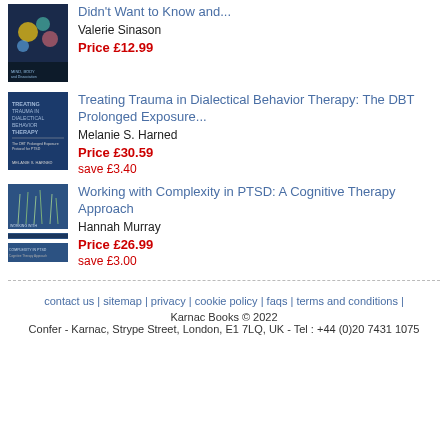[Figure (photo): Book cover for first book (Didn't Want to Know)]
Didn't Want to Know and...
Valerie Sinason
Price £12.99
[Figure (photo): Book cover for Treating Trauma in Dialectical Behavior Therapy]
Treating Trauma in Dialectical Behavior Therapy: The DBT Prolonged Exposure...
Melanie S. Harned
Price £30.59
save £3.40
[Figure (photo): Book cover for Working with Complexity in PTSD]
Working with Complexity in PTSD: A Cognitive Therapy Approach
Hannah Murray
Price £26.99
save £3.00
contact us | sitemap | privacy | cookie policy | faqs | terms and conditions | Karnac Books © 2022 Confer - Karnac, Strype Street, London, E1 7LQ, UK - Tel : +44 (0)20 7431 1075